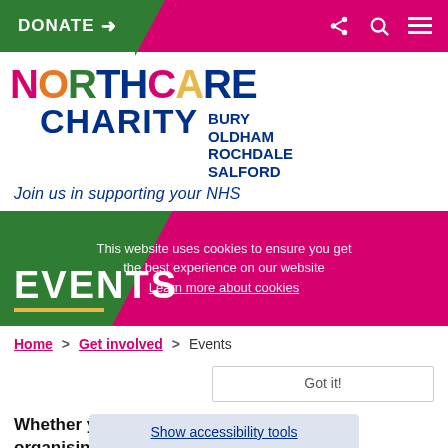DONATE → (navigation bar with share, search, menu icons)
[Figure (logo): Northcare Charity logo with coloured letters spelling NORTHCARE, subtitle CHARITY, locations BURY OLDHAM ROCHDALE SALFORD, tagline: Join us in supporting your NHS]
EVENTS
This website uses cookies to ensure you get the best experience on our website. Learn more about cookies
Home > Get involved > Events
Got it!
Whether y... ial event, organising ... your
Show accessibility tools